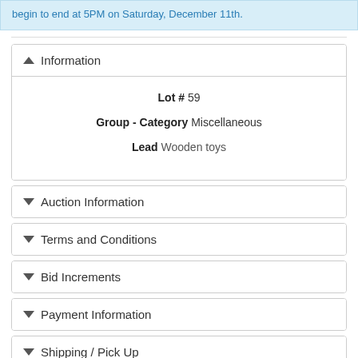begin to end at 5PM on Saturday, December 11th.
Information
Lot # 59
Group - Category Miscellaneous
Lead Wooden toys
Auction Information
Terms and Conditions
Bid Increments
Payment Information
Shipping / Pick Up